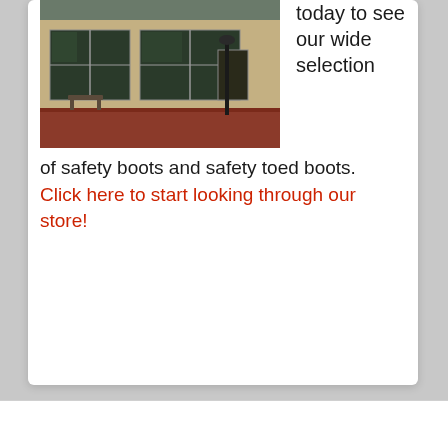[Figure (photo): Exterior photograph of a retail store with large windows, brick facade, a bench, and a lamp post on a red brick walkway]
today to see our wide selection of safety boots and safety toed boots. Click here to start looking through our store!